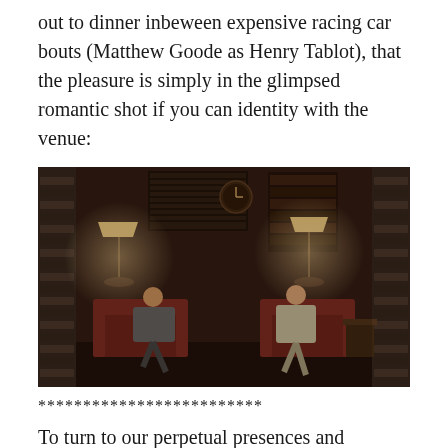out to dinner inbeween expensive racing car bouts (Matthew Goode as Henry Tablot), that the pleasure is simply in the glimpsed romantic shot if you can identity with the venue:
[Figure (photo): A dimly lit interior scene with two people seated on leather chairs/sofas, facing each other in conversation. Two lamps provide warm light on either side. A clock is visible on the wall in the background along with bookshelves and a window with blinds.]
*************************
To turn to our perpetual presences and symbolic houses, Anna's joy at holding on her to pregnancy begins to pall